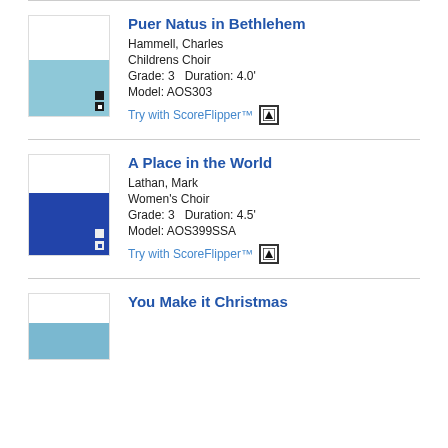[Figure (illustration): Sheet music cover for Puer Natus in Bethlehem with light blue bottom half]
Puer Natus in Bethlehem
Hammell, Charles
Childrens Choir
Grade: 3   Duration: 4.0'
Model: AOS303
Try with ScoreFlipper™
[Figure (illustration): Sheet music cover for A Place in the World with dark blue bottom half]
A Place in the World
Lathan, Mark
Women's Choir
Grade: 3   Duration: 4.5'
Model: AOS399SSA
Try with ScoreFlipper™
[Figure (illustration): Sheet music cover for You Make it Christmas with light blue bottom half]
You Make it Christmas